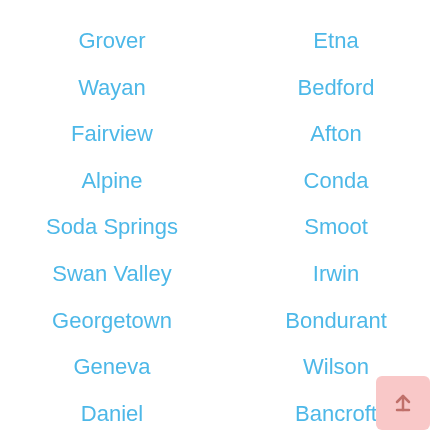Grover
Etna
Wayan
Bedford
Fairview
Afton
Alpine
Conda
Soda Springs
Smoot
Swan Valley
Irwin
Georgetown
Bondurant
Geneva
Wilson
Daniel
Bancroft